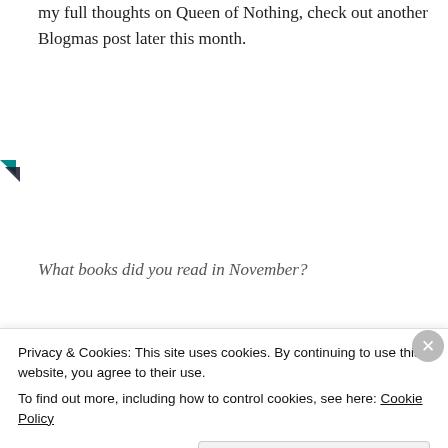my full thoughts on Queen of Nothing, check out another Blogmas post later this month.
[Figure (illustration): Small teal and dark triangle/arrow icon in the left margin]
What books did you read in November?
See you next time!
Privacy & Cookies: This site uses cookies. By continuing to use this website, you agree to their use.
To find out more, including how to control cookies, see here: Cookie Policy
Close and accept